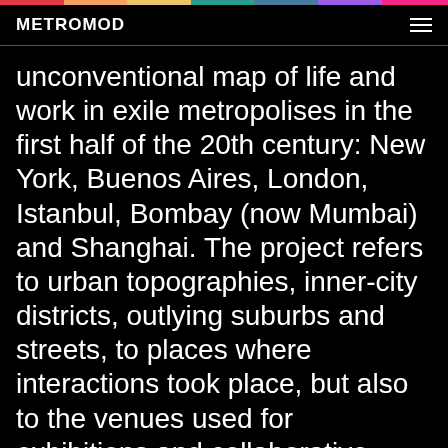METROMOD
unconventional map of life and work in exile metropolises in the first half of the 20th century: New York, Buenos Aires, London, Istanbul, Bombay (now Mumbai) and Shanghai. The project refers to urban topographies, inner-city districts, outlying suburbs and streets, to places where interactions took place, but also to the venues used for exhibitions and collaborative projects.  →  more